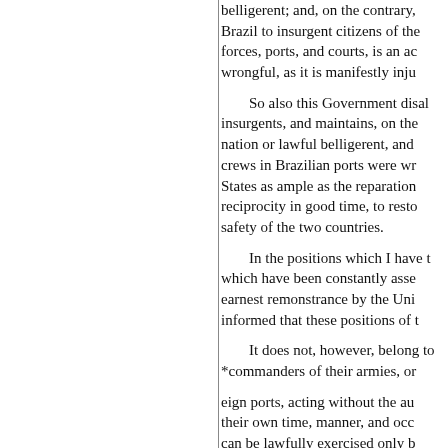belligerent; and, on the contrary, Brazil to insurgent citizens of the forces, ports, and courts, is an ac wrongful, as it is manifestly inju

So also this Government disal insurgents, and maintains, on the nation or lawful belligerent, and crews in Brazilian ports were wr States as ample as the reparation reciprocity in good time, to resto safety of the two countries.

In the positions which I have t which have been constantly asse earnest remonstrance by the Uni informed that these positions of t

It does not, however, belong t *commanders of their armies, or

eign ports, acting without the au their own time, manner, and occ can be lawfully exercised only b nations, the United States practic aggressive violence or retaliation